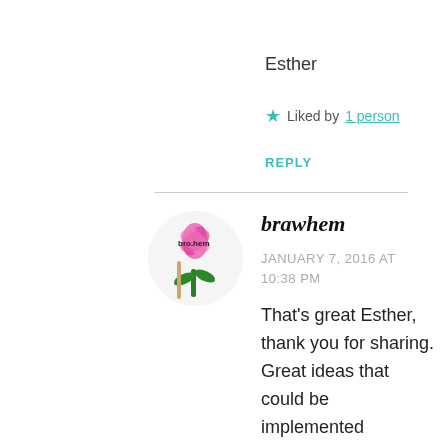https://etepetete-bio.de/
Esther
★ Liked by 1 person
REPLY
brawhem
JANUARY 7, 2016 AT 10:38 PM
That's great Esther, thank you for sharing. Great ideas that could be implemented